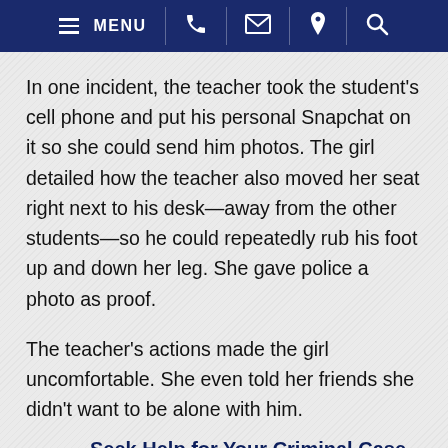MENU [phone] [email] [location] [search]
In one incident, the teacher took the student's cell phone and put his personal Snapchat on it so she could send him photos. The girl detailed how the teacher also moved her seat right next to his desk—away from the other students—so he could repeatedly rub his foot up and down her leg. She gave police a photo as proof.
The teacher's actions made the girl uncomfortable. She even told her friends she didn't want to be alone with him.
Seek Help for Your Criminal Case
In Florida, molestation is considered a felony. A